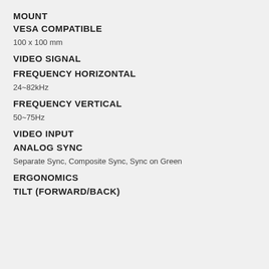MOUNT
VESA COMPATIBLE
100 x 100 mm
VIDEO SIGNAL
FREQUENCY HORIZONTAL
24~82kHz
FREQUENCY VERTICAL
50~75Hz
VIDEO INPUT
ANALOG SYNC
Separate Sync, Composite Sync, Sync on Green
ERGONOMICS
TILT (FORWARD/BACK)